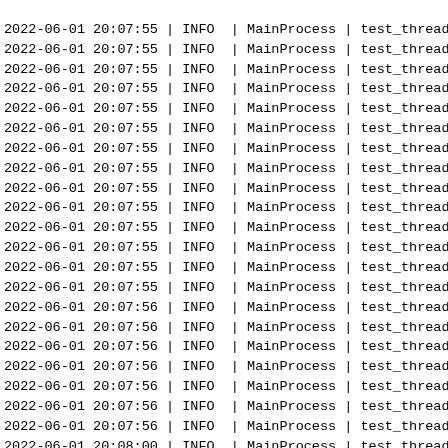Log entries showing timestamps, INFO/ERROR level, MainProcess, test_thread